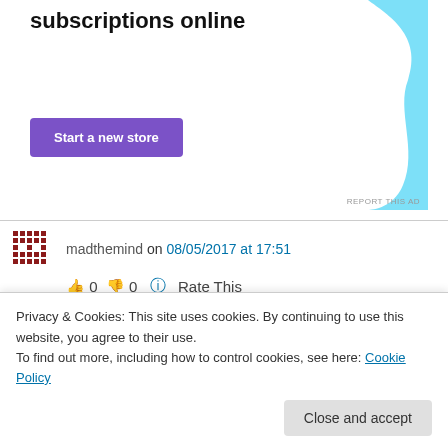[Figure (other): Advertisement banner: text 'subscriptions online' with purple 'Start a new store' button and light blue decorative blob shape on the right]
madthemind on 08/05/2017 at 17:51
👍 0 👎 0 ℹ Rate This
Thank you for such a kind addition to my blog didi! I look foward to your words
★ Liked by 9 people
Privacy & Cookies: This site uses cookies. By continuing to use this website, you agree to their use.
To find out more, including how to control cookies, see here: Cookie Policy
Close and accept
👍 0 ✦ 0 ★ Rate This